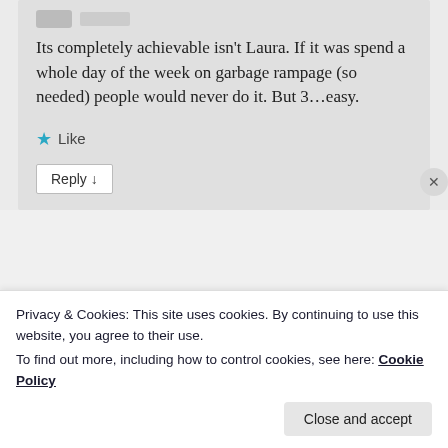Its completely achievable isn't Laura. If it was spend a whole day of the week on garbage rampage (so needed) people would never do it. But 3...easy.
★ Like
Reply ↓
[Figure (screenshot): Advertisement banner with dark navy background, a pink 'Start Now' button, decorative dots, and a circular Crowd Social logo on the right.]
Privacy & Cookies: This site uses cookies. By continuing to use this website, you agree to their use.
To find out more, including how to control cookies, see here: Cookie Policy
Close and accept